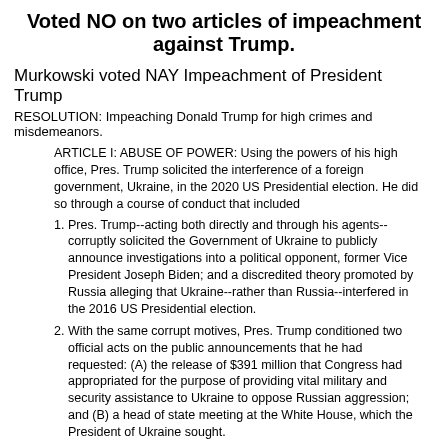Voted NO on two articles of impeachment against Trump.
Murkowski voted NAY Impeachment of President Trump
RESOLUTION: Impeaching Donald Trump for high crimes and misdemeanors.
ARTICLE I: ABUSE OF POWER: Using the powers of his high office, Pres. Trump solicited the interference of a foreign government, Ukraine, in the 2020 US Presidential election. He did so through a course of conduct that included
Pres. Trump--acting both directly and through his agents--corruptly solicited the Government of Ukraine to publicly announce investigations into a political opponent, former Vice President Joseph Biden; and a discredited theory promoted by Russia alleging that Ukraine--rather than Russia--interfered in the 2016 US Presidential election.
With the same corrupt motives, Pres. Trump conditioned two official acts on the public announcements that he had requested: (A) the release of $391 million that Congress had appropriated for the purpose of providing vital military and security assistance to Ukraine to oppose Russian aggression; and (B) a head of state meeting at the White House, which the President of Ukraine sought.
Faced with the public revelation of his actions, Pres. Trump ultimately released the [funds] to the Government of Ukraine, but has persisted in openly soliciting Ukraine to undertake investigations for his personal political benefit.
These actions were consistent with Pres. Trump's previous invitations of foreign interference in US elections.
ARTICLE II: OBSTRUCTION OF CONGRESS: